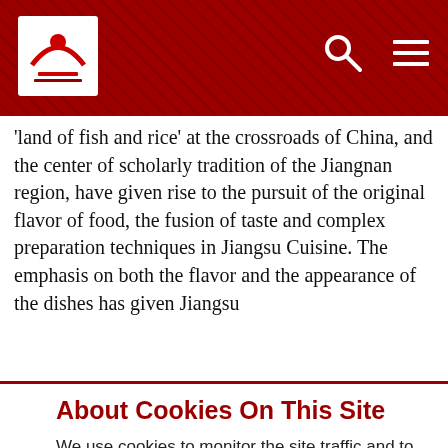Lee Kum Kee website header with logo, search icon, and menu icon
'land of fish and rice' at the crossroads of China, and the center of scholarly tradition of the Jiangnan region, have given rise to the pursuit of the original flavor of food, the fusion of taste and complex preparation techniques in Jiangsu Cuisine. The emphasis on both the flavor and the appearance of the dishes has given Jiangsu
About Cookies On This Site
We use cookies to monitor the site traffic and to measure our site's performance. By clicking “OK” or by clicking into any content on this site, you agree to allow cookies to be placed. See this link to learn how to disable cookies on your browser. View our Privacy Statement and Terms of Use.
OK